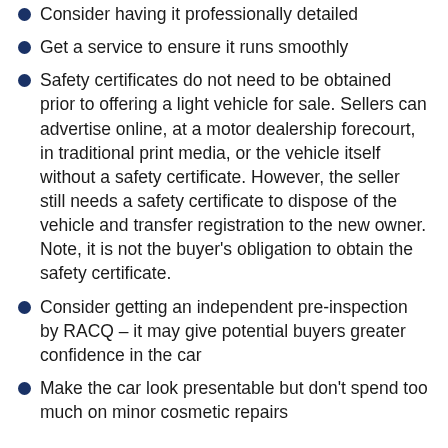Consider having it professionally detailed
Get a service to ensure it runs smoothly
Safety certificates do not need to be obtained prior to offering a light vehicle for sale. Sellers can advertise online, at a motor dealership forecourt, in traditional print media, or the vehicle itself without a safety certificate. However, the seller still needs a safety certificate to dispose of the vehicle and transfer registration to the new owner. Note, it is not the buyer's obligation to obtain the safety certificate.
Consider getting an independent pre-inspection by RACQ – it may give potential buyers greater confidence in the car
Make the car look presentable but don't spend too much on minor cosmetic repairs